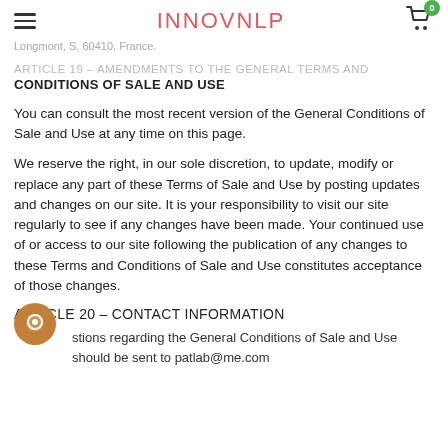Longmont, S, 60410, France.
INNOVNLP
ARTICLE 19 – AMENDMENTS TO THE GENERAL TERMS AND CONDITIONS OF SALE AND USE
You can consult the most recent version of the General Conditions of Sale and Use at any time on this page.
We reserve the right, in our sole discretion, to update, modify or replace any part of these Terms of Sale and Use by posting updates and changes on our site. It is your responsibility to visit our site regularly to see if any changes have been made. Your continued use of or access to our site following the publication of any changes to these Terms and Conditions of Sale and Use constitutes acceptance of those changes.
ARTICLE 20 – CONTACT INFORMATION
stions regarding the General Conditions of Sale and Use should be sent to patlab@me.com